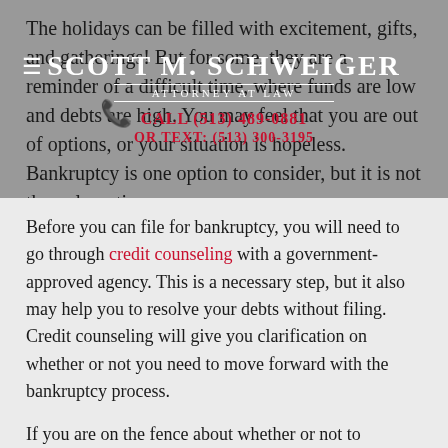The holidays can be filled with excitement, gifts, and gatherings! But for some, they are a reminder of a difficult time, where funds are low and debts are high.  You may feel that you are out of options, or your situation is hopeless. Bankruptcy is one option to consider, but it is not the only option.
[Figure (other): Law firm overlay banner with name SCOTT M. SCHWEIGER, ATTORNEY AT LAW, phone CALL (513) 489-0881 OR TEXT: (513) 300-3195, menu icon and phone icon]
Before you can file for bankruptcy, you will need to go through credit counseling with a government-approved agency. This is a necessary step, but it also may help you to resolve your debts without filing.  Credit counseling will give you clarification on whether or not you need to move forward with the bankruptcy process.
If you are on the fence about whether or not to